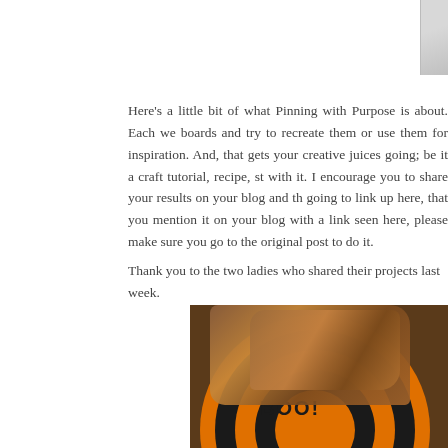[Figure (photo): Partial photo at top of page, cropped, showing a light gray/white textured background]
Here's a little bit of what Pinning with Purpose is about. Each we boards and try to recreate them or use them for inspiration. And, that gets your creative juices going; be it a craft tutorial, recipe, st with it. I encourage you to share your results on your blog and th going to link up here, that you mention it on your blog with a link seen here, please make sure you go to the original post to do it.
Thank you to the two ladies who shared their projects last week.
[Figure (photo): Photo of baked goods (cookies or bars with chocolate chips/nuts) on a Halloween orange and black spiral plate that reads 'BOO!' The plate is sitting on a dark wicker/rattan surface.]